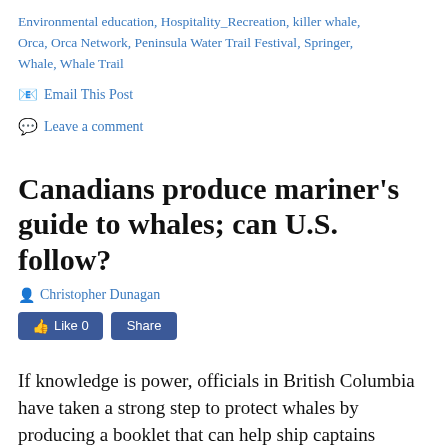Environmental education, Hospitality_Recreation, killer whale, Orca, Orca Network, Peninsula Water Trail Festival, Springer, Whale, Whale Trail
✉ Email This Post
💬 Leave a comment
Canadians produce mariner's guide to whales; can U.S. follow?
Christopher Dunagan
If knowledge is power, officials in British Columbia have taken a strong step to protect whales by producing a booklet that can help ship captains reduce the threats to marine mammals.